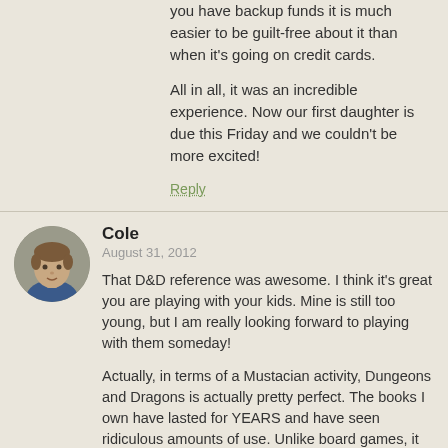you have backup funds it is much easier to be guilt-free about it than when it's going on credit cards.
All in all, it was an incredible experience. Now our first daughter is due this Friday and we couldn't be more excited!
Reply
Cole
August 31, 2012
That D&D reference was awesome. I think it's great you are playing with your kids. Mine is still too young, but I am really looking forward to playing with them someday!
Actually, in terms of a Mustacian activity, Dungeons and Dragons is actually pretty perfect. The books I own have lasted for YEARS and have seen ridiculous amounts of use. Unlike board games, it really is different every time you play and never gets stale.
Also, for those of you worried about the "nerdery" of it, I have managed to convince a bunch of my university friends who were hard partiers to try it. It became our "weekly poker night", and we even managed to get our girlfriends to play.